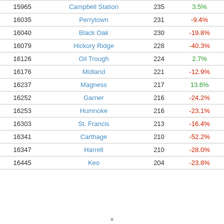| 15965 | Campbell Station | 235 | 3.5% |
| 16035 | Perrytown | 231 | -9.4% |
| 16040 | Black Oak | 230 | -19.8% |
| 16079 | Hickory Ridge | 228 | -40.3% |
| 16126 | Oil Trough | 224 | 2.7% |
| 16176 | Midland | 221 | -12.9% |
| 16237 | Magness | 217 | 13.6% |
| 16252 | Garner | 216 | -24.2% |
| 16253 | Humnoke | 216 | -23.1% |
| 16303 | St. Francis | 213 | -16.4% |
| 16341 | Carthage | 210 | -52.2% |
| 16347 | Harrell | 210 | -28.0% |
| 16445 | Keo | 204 | -23.8% |